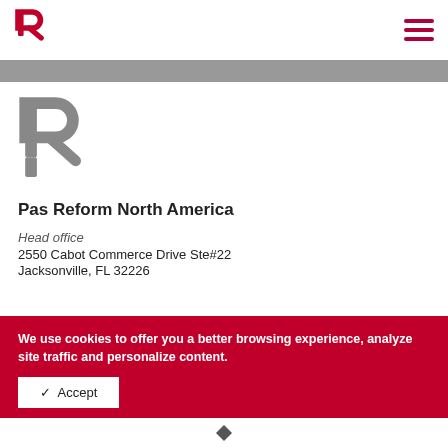Pas Reform logo and navigation menu
[Figure (logo): Large gray Pas Reform R logo]
Pas Reform North America
Head office
2550 Cabot Commerce Drive Ste#22
Jacksonville, FL 32226
We use cookies to offer you a better browsing experience, analyze site traffic and personalize content.